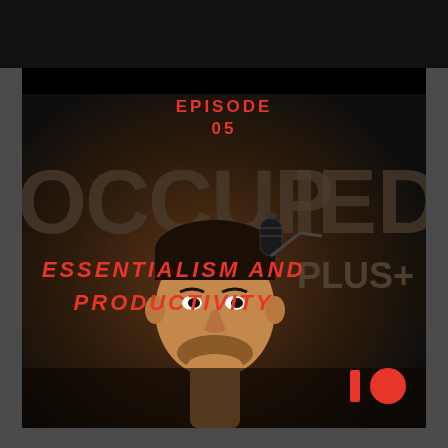[Figure (illustration): Podcast episode cover art for 'Occupied Plus+' Episode 05: Essentialism and Productivity. Dark background with large text 'OCCUPIED' behind a cartoon illustration of a man holding a microphone. Red italic text reads 'ESSENTIALISM AND PRODUCTIVITY'. Red Patreon logo in bottom right corner.]